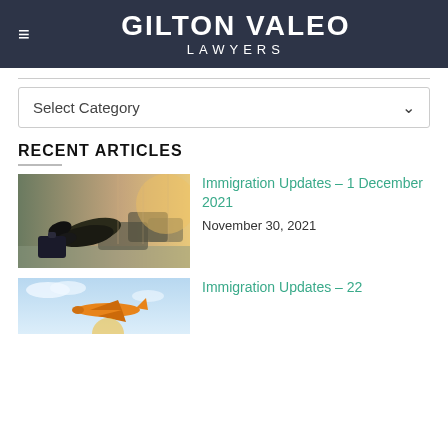GILTON VALEO LAWYERS
Select Category
RECENT ARTICLES
[Figure (photo): Person relaxing in airport seating area with feet resting on luggage, sunlit terminal in background]
Immigration Updates – 1 December 2021
November 30, 2021
[Figure (photo): Airplane flying in blue sky with orange aircraft visible]
Immigration Updates – 22